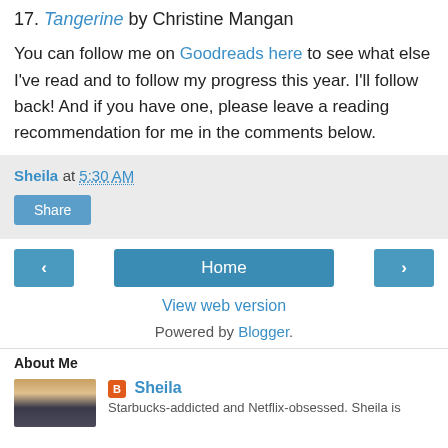17. Tangerine by Christine Mangan
You can follow me on Goodreads here to see what else I've read and to follow my progress this year. I'll follow back! And if you have one, please leave a reading recommendation for me in the comments below.
Sheila at 5:30 AM
Share
Home
View web version
Powered by Blogger.
About Me
Sheila
Starbucks-addicted and Netflix-obsessed. Sheila is